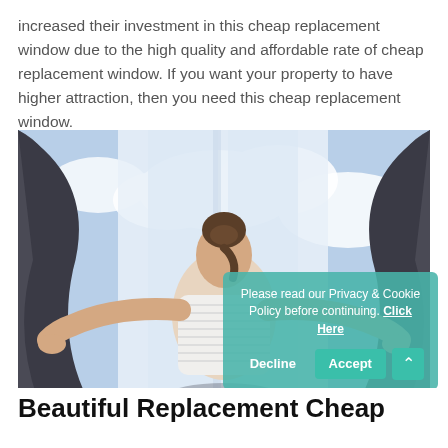increased their investment in this cheap replacement window due to the high quality and affordable rate of cheap replacement window. If you want your property to have higher attraction, then you need this cheap replacement window.
[Figure (photo): Woman seen from behind opening dark curtains to reveal a bright window with cloudy blue sky outside]
Please read our Privacy & Cookie Policy before continuing. Click Here
Decline   Accept
Beautiful Replacement Cheap